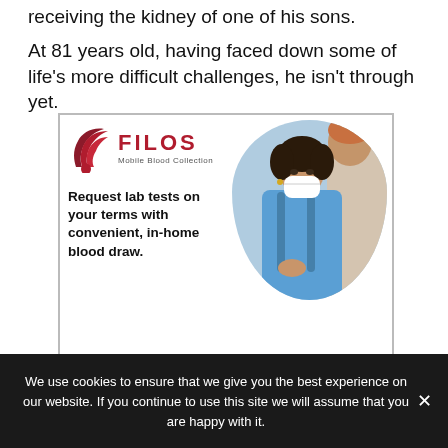receiving the kidney of one of his sons.
At 81 years old, having faced down some of life's more difficult challenges, he isn't through yet.
[Figure (photo): FILOS Mobile Blood Collection advertisement. Shows logo with stylized red wing/feather and drop icon, brand name FILOS in red bold letters, subtitle 'Mobile Blood Collection'. Text reads: 'Request lab tests on your terms with convenient, in-home blood draw.' and 'WE WORK'. Photo shows a masked healthcare worker in blue scrubs with curly hair speaking with an elderly person.]
We use cookies to ensure that we give you the best experience on our website. If you continue to use this site we will assume that you are happy with it.